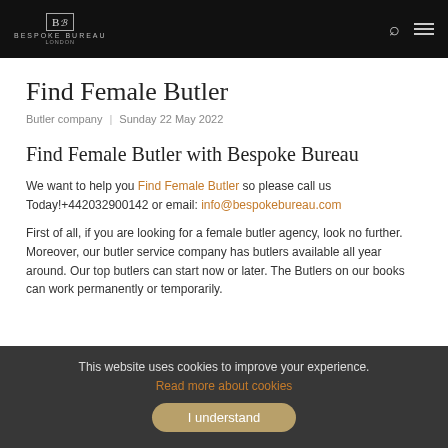Bespoke Bureau London
Find Female Butler
Butler company | Sunday 22 May 2022
Find Female Butler with Bespoke Bureau
We want to help you Find Female Butler so please call us Today!+442032900142 or email: info@bespokebureau.com
First of all, if you are looking for a female butler agency, look no further. Moreover, our butler service company has butlers available all year around. Our top butlers can start now or later. The Butlers on our books can work permanently or temporarily.
This website uses cookies to improve your experience. Read more about cookies I understand